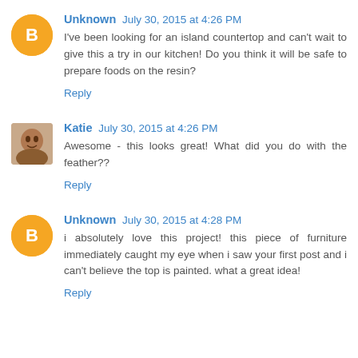Unknown July 30, 2015 at 4:26 PM
I've been looking for an island countertop and can't wait to give this a try in our kitchen! Do you think it will be safe to prepare foods on the resin?
Reply
Katie July 30, 2015 at 4:26 PM
Awesome - this looks great! What did you do with the feather??
Reply
Unknown July 30, 2015 at 4:28 PM
i absolutely love this project! this piece of furniture immediately caught my eye when i saw your first post and i can't believe the top is painted. what a great idea!
Reply